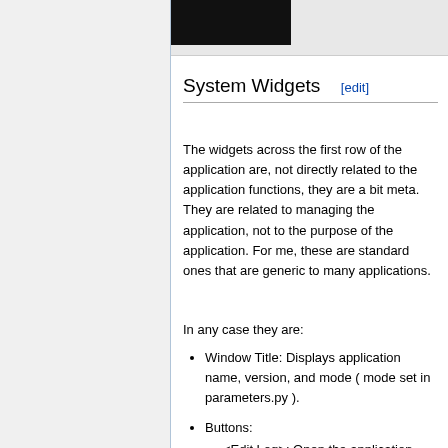[Figure (screenshot): Top navigation bar of a wiki-style application, showing a dark/black tab element on a light grey bar with a border below.]
System Widgets [edit]
The widgets across the first row of the application are, not directly related to the application functions, they are a bit meta. They are related to managing the application, not to the purpose of the application. For me, these are standard ones that are generic to many applications.
In any case they are:
Window Title: Displays application name, version, and mode ( mode set in parameters.py ).
Buttons:
<Edit Log>: Open the application